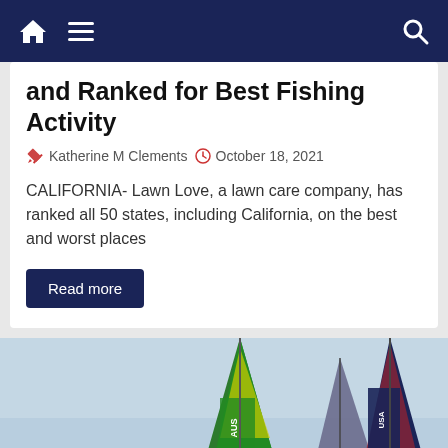Navigation bar with home, menu, and search icons
and Ranked for Best Fishing Activity
Katherine M Clements  October 18, 2021
CALIFORNIA- Lawn Love, a lawn care company, has ranked all 50 states, including California, on the best and worst places
Read more
[Figure (photo): Sailing boats with Australia (AUS) and USA team sails, competing on water with blue sky background]